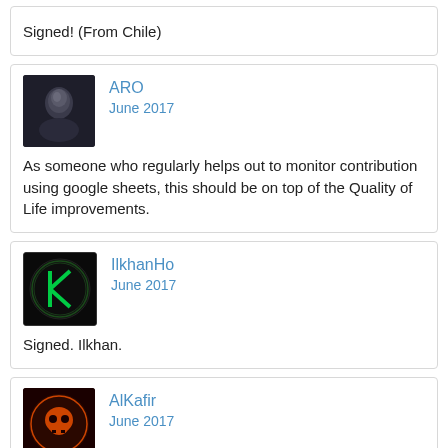Signed! (From Chile)
ARO
June 2017

As someone who regularly helps out to monitor contribution using google sheets, this should be on top of the Quality of Life improvements.
IlkhanHo
June 2017

Signed. Ilkhan.
AlKafir
June 2017

Signed